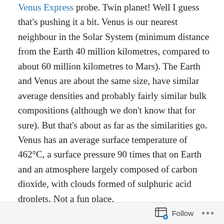Express probe. Twin planet! Well I guess that's pushing it a bit. Venus is our nearest neighbour in the Solar System (minimum distance from the Earth 40 million kilometres, compared to about 60 million kilometres to Mars). The Earth and Venus are about the same size, have similar average densities and probably fairly similar bulk compositions (although we don't know that for sure). But that's about as far as the similarities go. Venus has an average surface temperature of 462°C, a surface pressure 90 times that on Earth and an atmosphere largely composed of carbon dioxide, with clouds formed of sulphuric acid droplets. Not a fun place.
Launched in November 2005, Venus Express arrived at its destination in April 2006. The principal objective of the
Follow